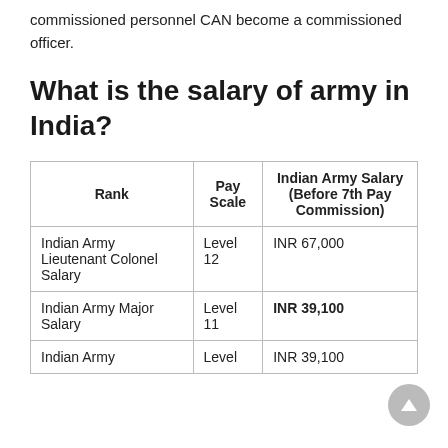commissioned personnel CAN become a commissioned officer.
What is the salary of army in India?
| Rank | Pay Scale | Indian Army Salary (Before 7th Pay Commission) |
| --- | --- | --- |
| Indian Army Lieutenant Colonel Salary | Level 12 | INR 67,000 |
| Indian Army Major Salary | Level 11 | INR 39,100 |
| Indian Army | Level | INR 39,100 |